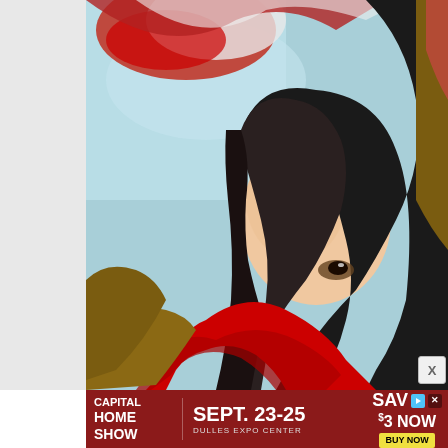[Figure (illustration): Anime-style illustration of a dark-haired female character wearing a red scarf and brown jacket/cloak, with a light blue sky background. Only the right portion of the illustration is visible, occupying the right two-thirds of the page. Left portion is a light gray sidebar. A small X close button appears at the bottom right of the illustration area.]
[Figure (infographic): Advertisement banner for Capital Home Show. Dark red background. Left section: 'CAPITAL HOME SHOW' text in white bold. Middle section: 'SEPT. 23-25' in large white bold text, 'DULLES EXPO CENTER' below in smaller text. Right section: 'SAVE $3 NOW' with a yellow 'BUY NOW' button. Play icon and close icon visible.]